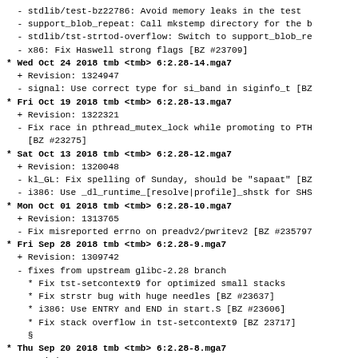- stdlib/test-bz22786: Avoid memory leaks in the test
- support_blob_repeat: Call mkstemp directory for the b
- stdlib/tst-strtod-overflow: Switch to support_blob_re
- x86: Fix Haswell strong flags [BZ #23709]
* Wed Oct 24 2018 tmb <tmb> 6:2.28-14.mga7
+ Revision: 1324947
- signal: Use correct type for si_band in siginfo_t [BZ
* Fri Oct 19 2018 tmb <tmb> 6:2.28-13.mga7
+ Revision: 1322321
- Fix race in pthread_mutex_lock while promoting to PTH
[BZ #23275]
* Sat Oct 13 2018 tmb <tmb> 6:2.28-12.mga7
+ Revision: 1320048
- kl_GL: Fix spelling of Sunday, should be "sapaat" [BZ
- i386: Use _dl_runtime_[resolve|profile]_shstk for SHS
* Mon Oct 01 2018 tmb <tmb> 6:2.28-10.mga7
+ Revision: 1313765
- Fix misreported errno on preadv2/pwritev2 [BZ #235797
* Fri Sep 28 2018 tmb <tmb> 6:2.28-9.mga7
+ Revision: 1309742
- fixes from upstream glibc-2.28 branch
* Fix tst-setcontext9 for optimized small stacks
* Fix strstr bug with huge needles [BZ #23637]
* i386: Use ENTRY and END in start.S [BZ #23606]
* Fix stack overflow in tst-setcontext9 [BZ 23717]
§
* Thu Sep 20 2018 tmb <tmb> 6:2.28-8.mga7
+ Revision: 1287661
- Fix segfault in maybe_script_execute
- Linux gethostid: Check for NULL value from gethostbyn